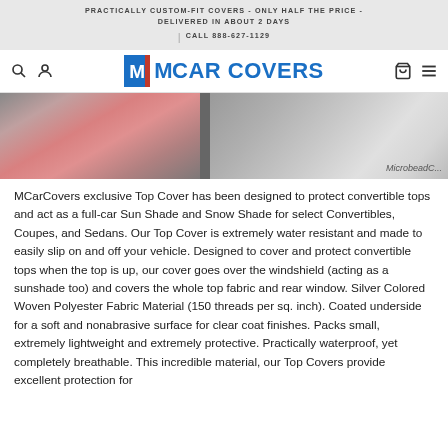PRACTICALLY CUSTOM-FIT COVERS - ONLY HALF THE PRICE - DELIVERED IN ABOUT 2 DAYS | CALL 888-627-1129
[Figure (logo): M Car Covers logo with blue M box and red bar, blue text reading M CAR COVERS]
[Figure (photo): Partial photo of a person placing or holding a silver car cover over a vehicle, with MicrobeadC... branding visible on the cover]
MCarCovers exclusive Top Cover has been designed to protect convertible tops and act as a full-car Sun Shade and Snow Shade for select Convertibles, Coupes, and Sedans. Our Top Cover is extremely water resistant and made to easily slip on and off your vehicle. Designed to cover and protect convertible tops when the top is up, our cover goes over the windshield (acting as a sunshade too) and covers the whole top fabric and rear window. Silver Colored Woven Polyester Fabric Material (150 threads per sq. inch). Coated underside for a soft and nonabrasive surface for clear coat finishes. Packs small, extremely lightweight and extremely protective. Practically waterproof, yet completely breathable. This incredible material, our Top Covers provide excellent protection for